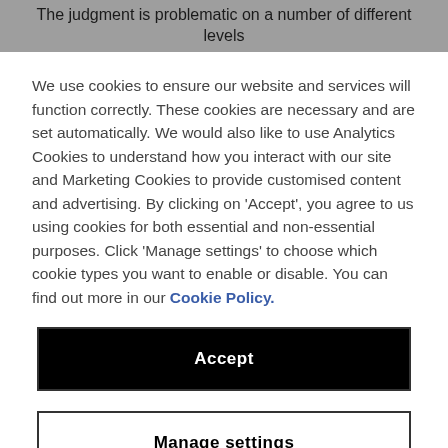The judgment is problematic on a number of different levels
We use cookies to ensure our website and services will function correctly. These cookies are necessary and are set automatically. We would also like to use Analytics Cookies to understand how you interact with our site and Marketing Cookies to provide customised content and advertising. By clicking on 'Accept', you agree to us using cookies for both essential and non-essential purposes. Click 'Manage settings' to choose which cookie types you want to enable or disable. You can find out more in our Cookie Policy.
Accept
Manage settings